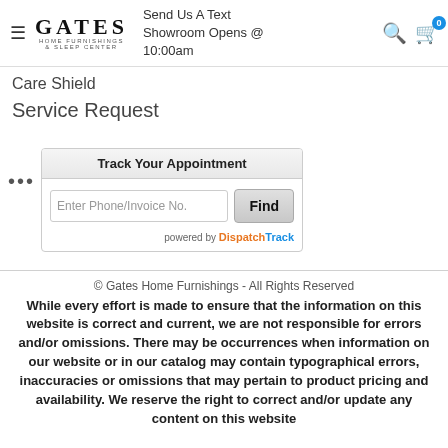GATES HOME FURNISHINGS & SLEEP CENTER | Send Us A Text | Showroom Opens @ 10:00am
Care Shield
Service Request
[Figure (screenshot): Track Your Appointment widget with phone/invoice input field and Find button, powered by DispatchTrack]
© Gates Home Furnishings - All Rights Reserved. While every effort is made to ensure that the information on this website is correct and current, we are not responsible for errors and/or omissions. There may be occurrences when information on our website or in our catalog may contain typographical errors, inaccuracies or omissions that may pertain to product pricing and availability. We reserve the right to correct and/or update any content on this website